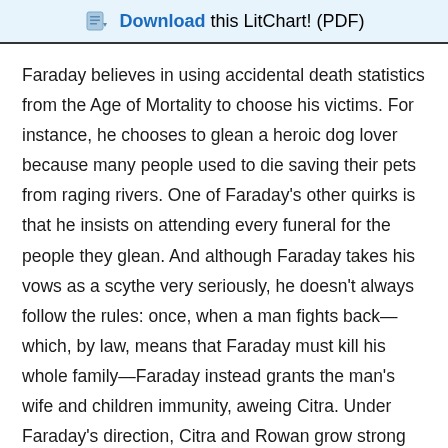Download this LitChart! (PDF)
Faraday believes in using accidental death statistics from the Age of Mortality to choose his victims. For instance, he chooses to glean a heroic dog lover because many people used to die saving their pets from raging rivers. One of Faraday's other quirks is that he insists on attending every funeral for the people they glean. And although Faraday takes his vows as a scythe very seriously, he doesn't always follow the rules: once, when a man fights back—which, by law, means that Faraday must kill his whole family—Faraday instead grants the man's wife and children immunity, aweing Citra. Under Faraday's direction, Citra and Rowan grow strong as they study "killcraft," as well as science and the humanities. They learn Black Widow Bokator, a martial art, and as time goes on, Rowan and